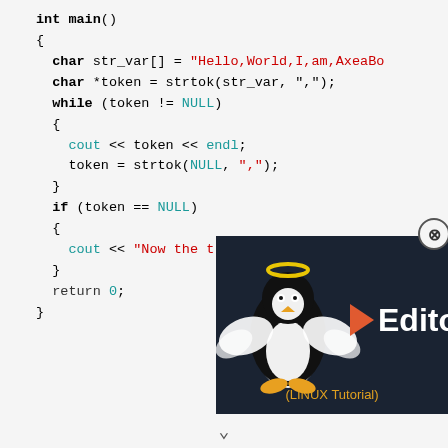int main()
{
    char str_var[] = "Hello,World,I,am,AxeaBo
    char *token = strtok(str_var, ",");
    while (token != NULL)
    {
        cout << token << endl;
        token = strtok(NULL, ",");
    }
    if (token == NULL)
    {
        cout << "Now the t
    }
    return 0;
}
[Figure (screenshot): Vi Editor Linux Tutorial overlay showing a Tux penguin with angel wings and halo, beside 'Vi Editor' branding text and '(LINUX Tutorial)' subtitle on a dark background.]